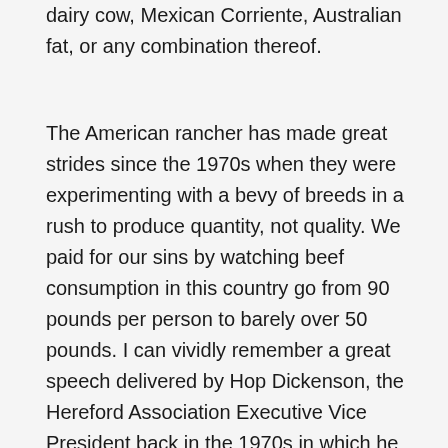dairy cow, Mexican Corriente, Australian fat, or any combination thereof.
The American rancher has made great strides since the 1970s when they were experimenting with a bevy of breeds in a rush to produce quantity, not quality. We paid for our sins by watching beef consumption in this country go from 90 pounds per person to barely over 50 pounds. I can vividly remember a great speech delivered by Hop Dickenson, the Hereford Association Executive Vice President back in the 1970s in which he said going out to dinner and ordering a steak was like playing Russian Roulette in that you had a one in six chance of getting a good steak. But now, thanks to a big infusion of Angus genetics and the conscientious job purebred and commercial cattlemen are doing, nearly two thirds of today's feedlot fat cattle will grade USDA Choice. The only problem is, 62 percent of the beef Americans will